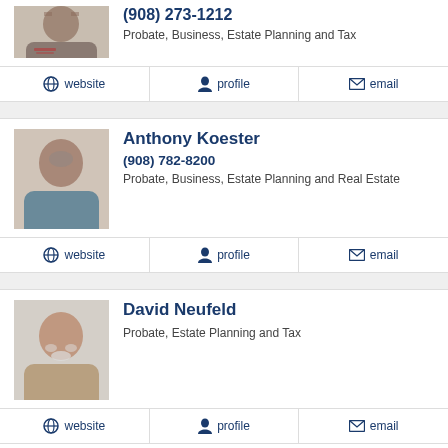(908) 273-1212
Probate, Business, Estate Planning and Tax
website | profile | email
Anthony Koester
(908) 782-8200
Probate, Business, Estate Planning and Real Estate
website | profile | email
David Neufeld
Probate, Estate Planning and Tax
website | profile | email